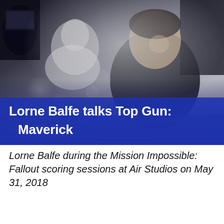[Figure (photo): Black and white photo of Lorne Balfe at a recording studio, two people visible, studio equipment in background, overlaid with blue banner text]
Lorne Balfe talks Top Gun: Maverick
Lorne Balfe during the Mission Impossible: Fallout scoring sessions at Air Studios on May 31, 2018